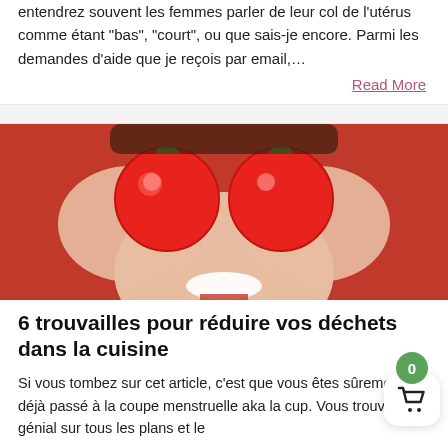entendrez souvent les femmes parler de leur col de l'utérus comme étant "bas", "court", ou que sais-je encore. Parmi les demandes d'aide que je reçois par email,…
Read More
[Figure (photo): Woman holding two red tomatoes in front of her eyes, smiling, against an orange-red background]
6 trouvailles pour réduire vos déchets dans la cuisine
Si vous tombez sur cet article, c'est que vous êtes sûrement déjà passé à la coupe menstruelle aka la cup. Vous trouvez ça génial sur tous les plans et le